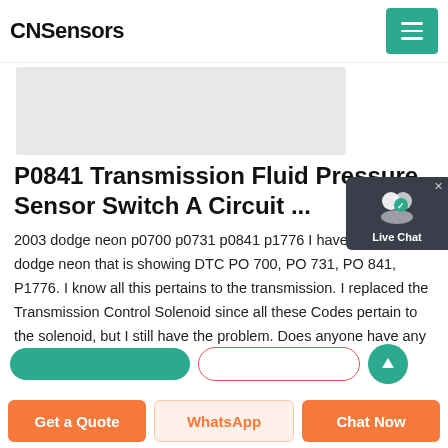CNSensors
[Figure (screenshot): Partial gray image area at top of page content]
[Figure (infographic): Live Chat widget in top right corner]
P0841 Transmission Fluid Pressure Sensor Switch A Circuit ...
2003 dodge neon p0700 p0731 p0841 p1776 I have a 2003 dodge neon that is showing DTC PO 700, PO 731, PO 841, P1776. I know all this pertains to the transmission. I replaced the Transmission Control Solenoid since all these Codes pertain to the solenoid, but I still have the problem. Does anyone have any suggestions. Thanks...
Get a Quote | WhatsApp | Chat Now